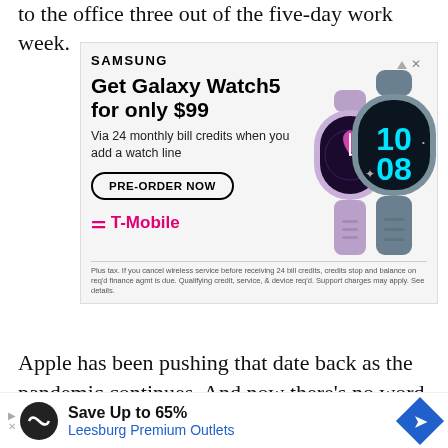to the office three out of the five-day work week.
[Figure (screenshot): Samsung advertisement for Galaxy Watch5 for $99 via T-Mobile, with pre-order button and two smartwatches shown (purple and gray). Disclaimer text at bottom.]
Apple has been pushing that date back as the pandemic continues. And now there’s no word on when that will actually happen, or how the hybrid work scenario might change as a result.
[Figure (screenshot): Bottom advertisement banner: Save Up to 65% Leesburg Premium Outlets]